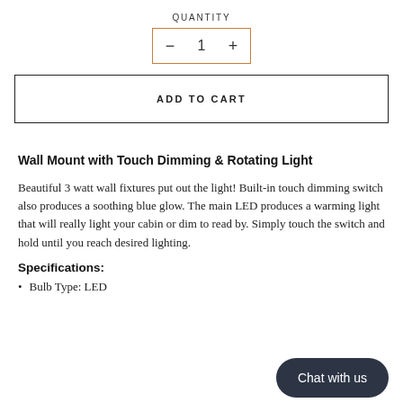QUANTITY
− 1 +
ADD TO CART
Wall Mount with Touch Dimming & Rotating Light
Beautiful 3 watt wall fixtures put out the light! Built-in touch dimming switch also produces a soothing blue glow. The main LED produces a warming light that will really light your cabin or dim to read by. Simply touch the switch and hold until you reach desired lighting.
Specifications:
Bulb Type: LED
Chat with us